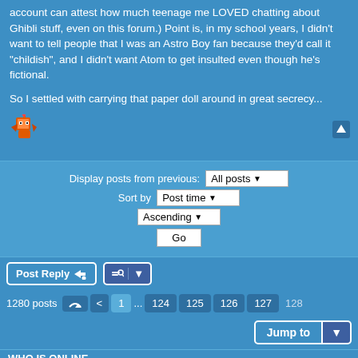account can attest how much teenage me LOVED chatting about Ghibli stuff, even on this forum.) Point is, in my school years, I didn't want to tell people that I was an Astro Boy fan because they'd call it "childish", and I didn't want Atom to get insulted even though he's fictional.
So I settled with carrying that paper doll around in great secrecy...
[Figure (illustration): Small pixel-art emoji of a character with wings]
Display posts from previous: All posts ▼  Sort by Post time ▼  Ascending ▼  Go
Post Reply  [tools button]
1280 posts  [pagination: 1 ... 124 125 126 127 128]
Jump to
WHO IS ONLINE
Users browsing this forum: No registered users and 16 guests
Board index   Contact us   The team
Powered by phpBB® Forum Software © phpBB Limited